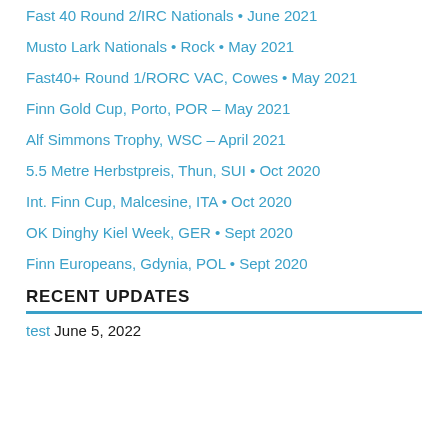Fast 40 Round 2/IRC Nationals • June 2021
Musto Lark Nationals • Rock • May 2021
Fast40+ Round 1/RORC VAC, Cowes • May 2021
Finn Gold Cup, Porto, POR – May 2021
Alf Simmons Trophy, WSC – April 2021
5.5 Metre Herbstpreis, Thun, SUI • Oct 2020
Int. Finn Cup, Malcesine, ITA • Oct 2020
OK Dinghy Kiel Week, GER • Sept 2020
Finn Europeans, Gdynia, POL • Sept 2020
RECENT UPDATES
test June 5, 2022